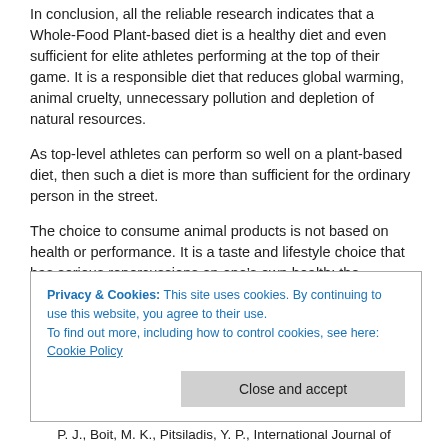In conclusion, all the reliable research indicates that a Whole-Food Plant-based diet is a healthy diet and even sufficient for elite athletes performing at the top of their game. It is a responsible diet that reduces global warming, animal cruelty, unnecessary pollution and depletion of natural resources.
As top-level athletes can perform so well on a plant-based diet, then such a diet is more than sufficient for the ordinary person in the street.
The choice to consume animal products is not based on health or performance. It is a taste and lifestyle choice that has serious repercussions on one’s own health; the suffering caused to other animals; the destruction of forests for animal feedstock; the pollution of rivers from animal effluent runoff; and an unnecessary contribution to global warming.
Privacy & Cookies: This site uses cookies. By continuing to use this website, you agree to their use.
To find out more, including how to control cookies, see here: Cookie Policy
Close and accept
P. J., Boit, M. K., Pitsiladis, Y. P., International Journal of